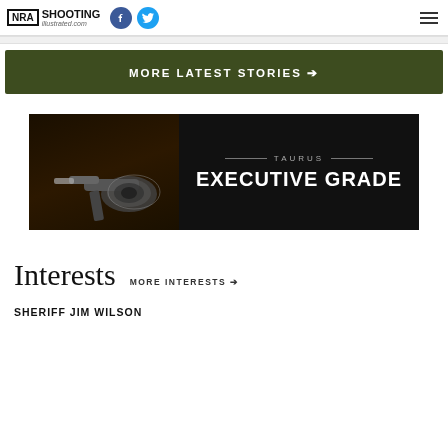NRA Shooting Illustrated
MORE LATEST STORIES →
[Figure (illustration): Taurus Executive Grade advertisement banner with revolver image on dark background]
Interests  MORE INTERESTS →
SHERIFF JIM WILSON